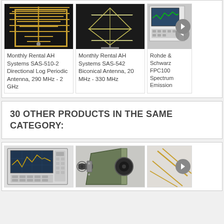[Figure (photo): Photo of Monthly Rental AH Systems SAS-510-2 Directional Log Periodic Antenna on black background]
Monthly Rental AH Systems SAS-510-2 Directional Log Periodic Antenna, 290 MHz - 2 GHz
[Figure (photo): Photo of Monthly Rental AH Systems SAS-542 Biconical Antenna on black background]
Monthly Rental AH Systems SAS-542 Biconical Antenna, 20 MHz - 330 MHz
[Figure (photo): Partial photo of Rohde & Schwarz FPC100x Spectrum Analyzer / Emission test equipment]
Rohde & Schwarz FPC100x Spectrum Emission...
30 OTHER PRODUCTS IN THE SAME CATEGORY:
[Figure (photo): Photo of a spectrum analyzer instrument with keypad and screen showing frequency traces]
[Figure (photo): Photo of a waveguide horn antenna, olive/military green colored]
[Figure (photo): Partial photo of a third product, partially cropped]